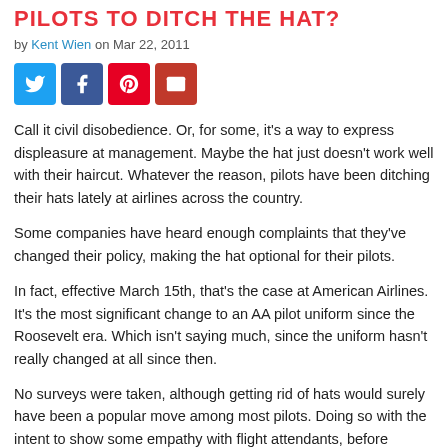PILOTS TO DITCH THE HAT?
by Kent Wien on Mar 22, 2011
[Figure (other): Social share buttons: Twitter, Facebook, Pinterest, Email]
Call it civil disobedience. Or, for some, it's a way to express displeasure at management. Maybe the hat just doesn't work well with their haircut. Whatever the reason, pilots have been ditching their hats lately at airlines across the country.
Some companies have heard enough complaints that they've changed their policy, making the hat optional for their pilots.
In fact, effective March 15th, that's the case at American Airlines. It's the most significant change to an AA pilot uniform since the Roosevelt era. Which isn't saying much, since the uniform hasn't really changed at all since then.
No surveys were taken, although getting rid of hats would surely have been a popular move among most pilots. Doing so with the intent to show some empathy with flight attendants, before